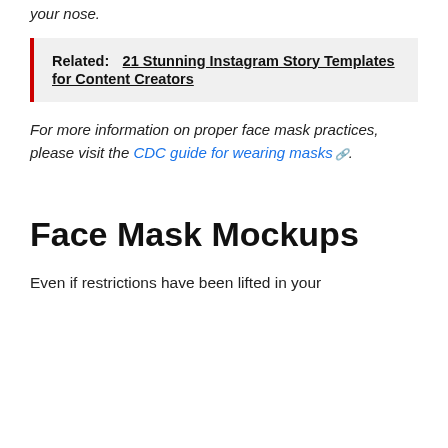your nose.
Related:  21 Stunning Instagram Story Templates for Content Creators
For more information on proper face mask practices, please visit the CDC guide for wearing masks.
Face Mask Mockups
Even if restrictions have been lifted in your